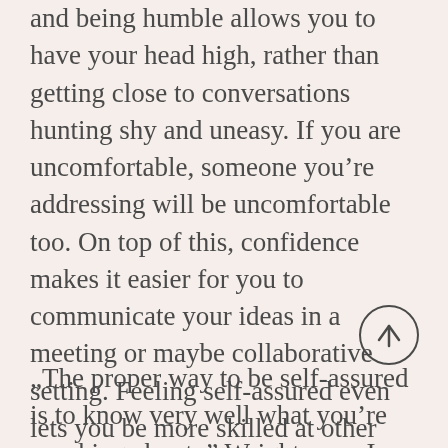and being humble allows you to have your head high, rather than getting close to conversations hunting shy and uneasy. If you are uncomfortable, someone you're addressing will be uncomfortable too. On top of this, confidence makes it easier for you to communicate your ideas in a meeting or maybe collaborative setting. Feeling self-assured even lets you be more skilled at other social skills just like negotiation, resolve conflicts, constructive critique, and rely on.
[Figure (other): Circular scroll-up / back-to-top button with an upward arrow icon]
„The proper way to be self-assured is to know very well what you're speaking about, " Wright says. In the